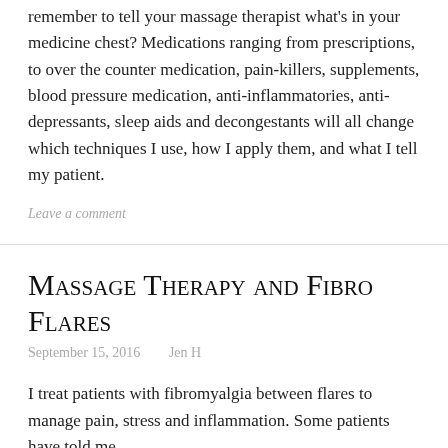remember to tell your massage therapist what's in your medicine chest? Medications ranging from prescriptions, to over the counter medication, pain-killers, supplements, blood pressure medication, anti-inflammatories, anti-depressants, sleep aids and decongestants will all change which techniques I use, how I apply them, and what I tell my patient.
Leave a comment
Massage Therapy and Fibro Flares
September 15, 2016   Jen H
I treat patients with fibromyalgia between flares to manage pain, stress and inflammation. Some patients have told me...